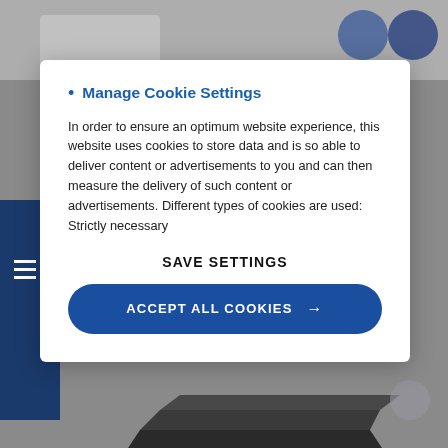[Figure (screenshot): Website background showing a dimmed page with a logo area, navigation circles, navy sidebar, and a product image of a dark industrial device/surface plate at the bottom.]
Manage Cookie Settings
In order to ensure an optimum website experience, this website uses cookies to store data and is so able to deliver content or advertisements to you and can then measure the delivery of such content or advertisements. Different types of cookies are used: Strictly necessary
SAVE SETTINGS
ACCEPT ALL COOKIES →